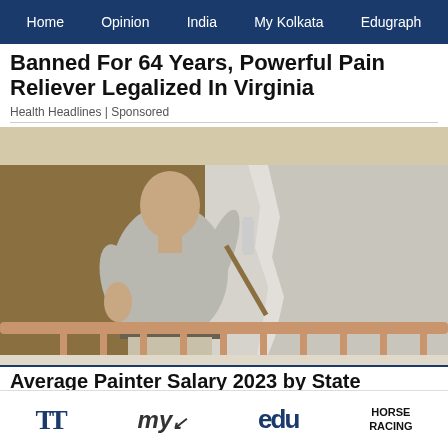Home | Opinion | India | My Kolkata | Edugraph
Banned For 64 Years, Powerful Pain Reliever Legalized In Virginia
Health Headlines | Sponsored
[Figure (photo): A bald man in a grey t-shirt painting a wall white using a paint roller, standing near a staircase railing. The wall behind him is tan/gold colored and he is applying white paint.]
Average Painter Salary 2023 by State
TT | my | edu | HORSE RACING